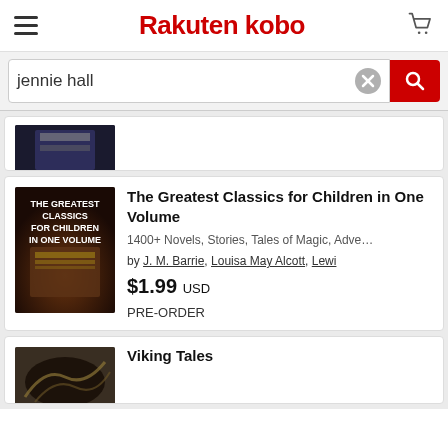Rakuten kobo
jennie hall
[Figure (screenshot): Partial book cover visible at top, cropped]
The Greatest Classics for Children in One Volume
1400+ Novels, Stories, Tales of Magic, Adve...
by J. M. Barrie, Louisa May Alcott, Lewi
$1.99 USD
PRE-ORDER
[Figure (photo): Viking Tales book cover partially visible]
Viking Tales